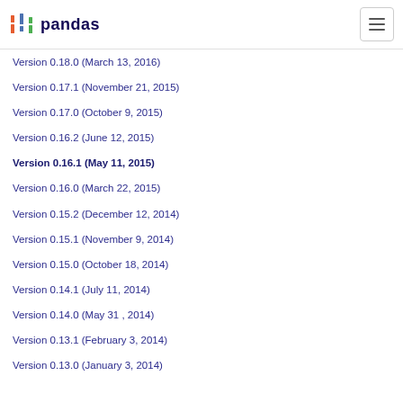pandas
Version 0.18.0 (March 13, 2016)
Version 0.17.1 (November 21, 2015)
Version 0.17.0 (October 9, 2015)
Version 0.16.2 (June 12, 2015)
Version 0.16.1 (May 11, 2015)
Version 0.16.0 (March 22, 2015)
Version 0.15.2 (December 12, 2014)
Version 0.15.1 (November 9, 2014)
Version 0.15.0 (October 18, 2014)
Version 0.14.1 (July 11, 2014)
Version 0.14.0 (May 31 , 2014)
Version 0.13.1 (February 3, 2014)
Version 0.13.0 (January 3, 2014)